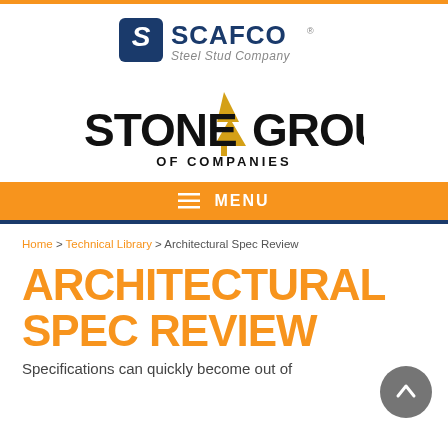[Figure (logo): SCAFCO Steel Stud Company logo — blue shield with stylized S, SCAFCO in blue bold text, Steel Stud Company in gray italic]
[Figure (logo): Stone Group of Companies logo — black bold STONE GROUP text with yellow/gold pine tree icon, OF COMPANIES below in black]
≡ MENU
Home > Technical Library > Architectural Spec Review
ARCHITECTURAL SPEC REVIEW
Specifications can quickly become out of